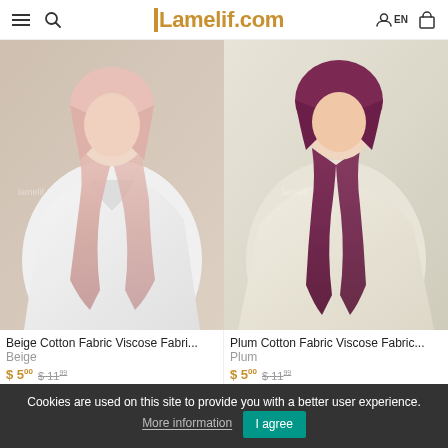Lamelif.com
[Figure (photo): Woman wearing beige/pink cotton viscose hijab scarf with white blazer]
[Figure (photo): Woman wearing plum/dark purple cotton viscose hijab scarf with cream outfit]
Beige Cotton Fabric Viscose Fabri...
Beige
$5.00 $11.99
Plum Cotton Fabric Viscose Fabric...
Plum
$5.00 $11.99
Cookies are used on this site to provide you with a better user experience. More information  I agree